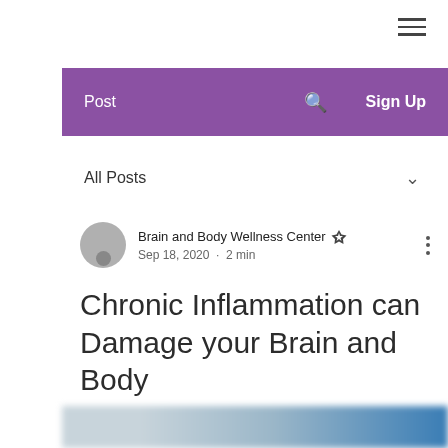[Figure (screenshot): Hamburger menu icon (three horizontal lines) in top right corner]
Post  🔍  Sign Up
All Posts ∨
Brain and Body Wellness Center ★  Sep 18, 2020  •  2 min
Chronic Inflammation can Damage your Brain and Body
[Figure (photo): Blurred blue and grey image at bottom of page]